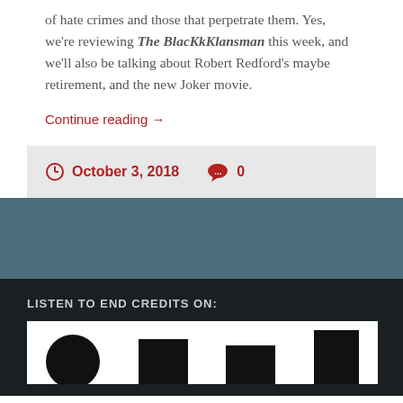of hate crimes and those that perpetrate them. Yes, we're reviewing The BlacKkKlansman this week, and we'll also be talking about Robert Redford's maybe retirement, and the new Joker movie.
Continue reading →
October 3, 2018   0
LISTEN TO END CREDITS ON:
[Figure (logo): Partial logo image with circular and rectangular black shapes on white background, cropped at bottom]